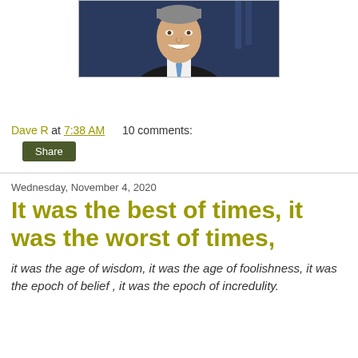[Figure (photo): Photo of a smiling man in a dark suit with a blue tie, against a blue background with flags.]
Dave R at 7:38 AM     10 comments:
Share
Wednesday, November 4, 2020
It was the best of times, it was the worst of times,
it was the age of wisdom, it was the age of foolishness, it was the epoch of belief , it was the epoch of incredulity.